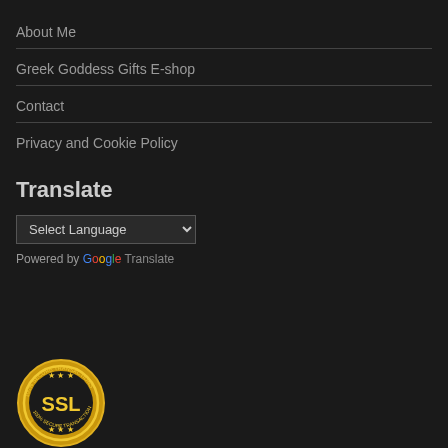About Me
Greek Goddess Gifts E-shop
Contact
Privacy and Cookie Policy
Translate
Select Language (dropdown)
Powered by Google Translate
[Figure (logo): SSL secure transactions badge — gold circular seal with 'SSL' text in center]